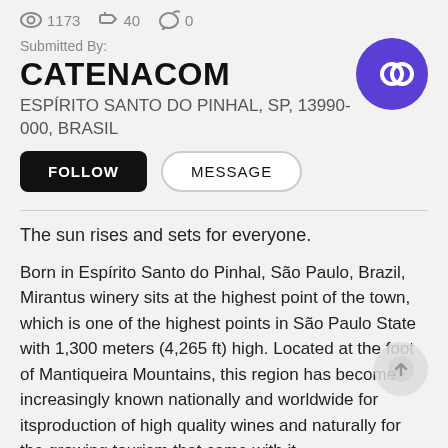1173  40  0
Submitted By:
CATENACOM
ESPÍRITO SANTO DO PINHAL, SP, 13990-000, BRASIL
FOLLOW   MESSAGE
The sun rises and sets for everyone.
Born in Espírito Santo do Pinhal, São Paulo, Brazil, Mirantus winery sits at the highest point of the town, which is one of the highest points in São Paulo State with 1,300 meters (4,265 ft) high. Located at the foot of Mantiqueira Mountains, this region has become increasingly known nationally and worldwide for itsproduction of high quality wines and naturally for the growing tourism that came with it.
Mirantus winery was born from the mind of a young entrepreneur who decided to return to his hometown after years of working in